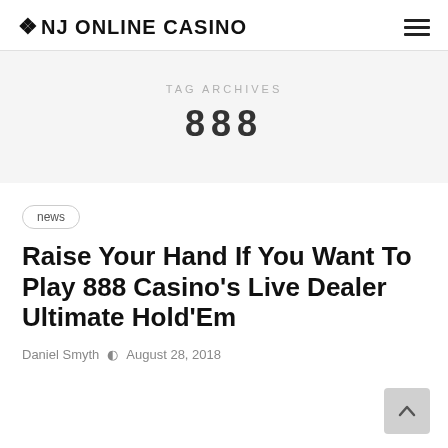NJ ONLINE CASINO
TAG ARCHIVES
888
news
Raise Your Hand If You Want To Play 888 Casino's Live Dealer Ultimate Hold'Em
Daniel Smyth  August 28, 2018